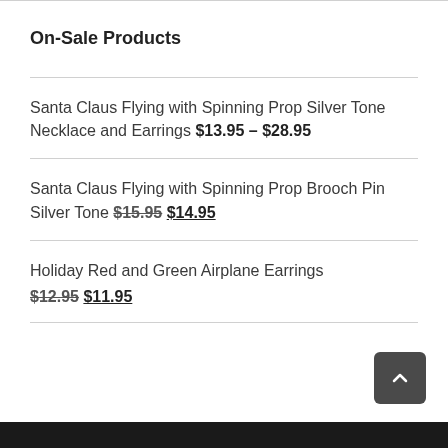On-Sale Products
Santa Claus Flying with Spinning Prop Silver Tone Necklace and Earrings $13.95 – $28.95
Santa Claus Flying with Spinning Prop Brooch Pin Silver Tone $15.95 $14.95
Holiday Red and Green Airplane Earrings $12.95 $11.95